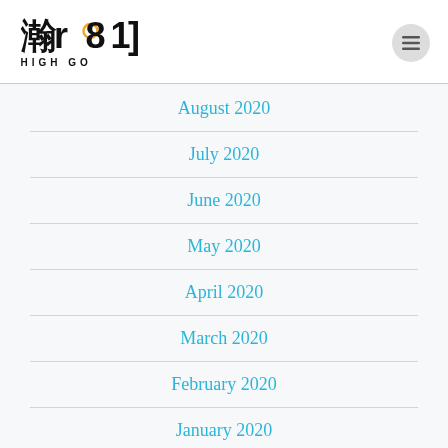[Figure (logo): HIGH GO logo with Chinese characters, stylized text and orange dot accent]
August 2020
July 2020
June 2020
May 2020
April 2020
March 2020
February 2020
January 2020
November 2019